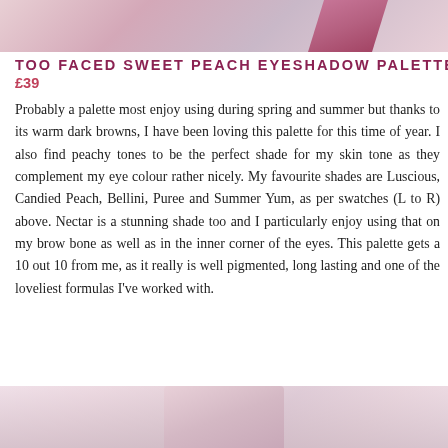[Figure (photo): Top portion of a photo showing pink/rose colored product or makeup palette on a light background]
TOO FACED SWEET PEACH EYESHADOW PALETTE | £39
Probably a palette most enjoy using during spring and summer but thanks to its warm dark browns, I have been loving this palette for this time of year. I also find peachy tones to be the perfect shade for my skin tone as they complement my eye colour rather nicely. My favourite shades are Luscious, Candied Peach, Bellini, Puree and Summer Yum, as per swatches (L to R) above. Nectar is a stunning shade too and I particularly enjoy using that on my brow bone as well as in the inner corner of the eyes. This palette gets a 10 out 10 from me, as it really is well pigmented, long lasting and one of the loveliest formulas I've worked with.
[Figure (photo): Bottom portion of a photo showing a blurred close-up of makeup application or product]